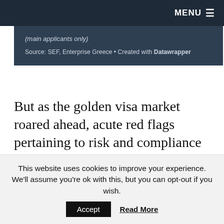MENU
(main applicants only)
Source: SEF, Enterprise Greece • Created with Datawrapper
But as the golden visa market roared ahead, acute red flags pertaining to risk and compliance went largely ignored – as they often do when people are making money hand over fist. Issues with delayed payments, delayed property delivery
This website uses cookies to improve your experience. We'll assume you're ok with this, but you can opt-out if you wish.